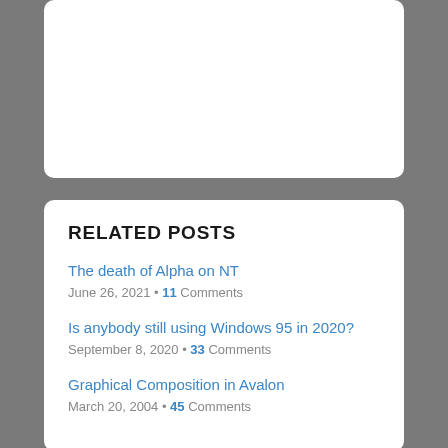RELATED POSTS
The death of Alpha on NT
June 26, 2021 • 11 Comments
Is anybody still using Windows 95 in 2020?
September 8, 2020 • 33 Comments
Graphical Composition in Avalon
March 20, 2004 • 45 Comments